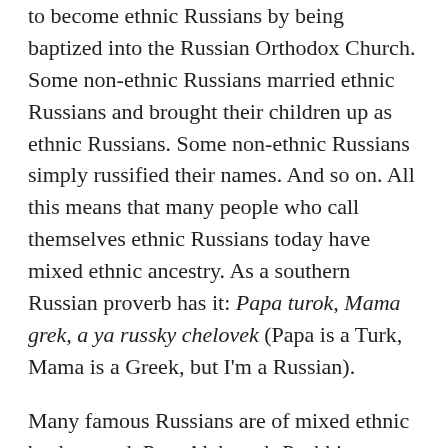to become ethnic Russians by being baptized into the Russian Orthodox Church. Some non-ethnic Russians married ethnic Russians and brought their children up as ethnic Russians. Some non-ethnic Russians simply russified their names. And so on. All this means that many people who call themselves ethnic Russians today have mixed ethnic ancestry. As a southern Russian proverb has it: Papa turok, Mama grek, a ya russky chelovek (Papa is a Turk, Mama is a Greek, but I'm a Russian).
Many famous Russians are of mixed ethnic background. Poet Aleksandr Pushkin descended from a German on his father's side and an Ethiopian on his mother's side. General Mikhail Kutuzov was of German ancestry. Historian Nikolai Karamzin was of Tatar background. The Tatar connection is especially